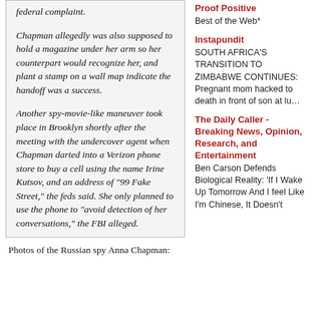federal complaint.

Chapman allegedly was also supposed to hold a magazine under her arm so her counterpart would recognize her, and plant a stamp on a wall map indicate the handoff was a success.

Another spy-movie-like maneuver took place in Brooklyn shortly after the meeting with the undercover agent when Chapman darted into a Verizon phone store to buy a cell using the name Irine Kutsov, and an address of "99 Fake Street," the feds said. She only planned to use the phone to "avoid detection of her conversations," the FBI alleged.
Photos of the Russian spy Anna Chapman:
Proof Positive
Best of the Web*
Instapundit
SOUTH AFRICA'S TRANSITION TO ZIMBABWE CONTINUES: Pregnant mom hacked to death in front of son at lu…
The Daily Caller - Breaking News, Opinion, Research, and Entertainment
Ben Carson Defends Biological Reality: 'If I Wake Up Tomorrow And I feel Like I'm Chinese, It Doesn't